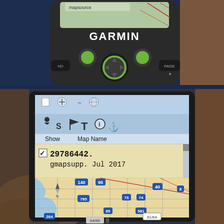[Figure (photo): Top portion of a Garmin GPS handheld device showing the GARMIN logo, physical buttons including navigation pad, page button, and a screen showing 'mapsource' text with map lines visible.]
[Figure (photo): Close-up of Garmin GPS device screen showing map setup menu with map name '29786442. gmapsupp. Jul 2017' checked, and a road map display below showing highway numbers 140, 95, 40, 795, 73, 74, 85, 581, 264, 81/64, with coordinates 64/99.]